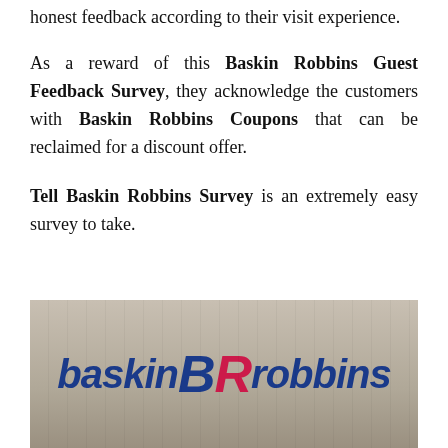honest feedback according to their visit experience.
As a reward of this Baskin Robbins Guest Feedback Survey, they acknowledge the customers with Baskin Robbins Coupons that can be reclaimed for a discount offer.
Tell Baskin Robbins Survey is an extremely easy survey to take.
[Figure (photo): Baskin Robbins logo sign on a wooden background showing 'baskin BR robbins' in blue and pink/red lettering]